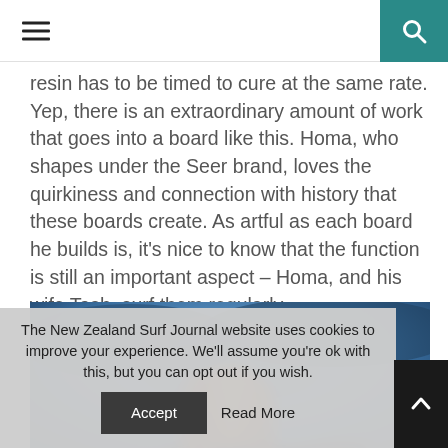Navigation bar with hamburger menu and search icon
resin has to be timed to cure at the same rate. Yep, there is an extraordinary amount of work that goes into a board like this. Homa, who shapes under the Seer brand, loves the quirkiness and connection with history that these boards create. As artful as each board he builds is, it's nice to know that the function is still an important aspect – Homa, and his wife Tash, surf them regularly.
[Figure (photo): Blurred photo of a person with long hair against a blue sky background, viewed from below]
The New Zealand Surf Journal website uses cookies to improve your experience. We'll assume you're ok with this, but you can opt out if you wish.
Accept   Read More